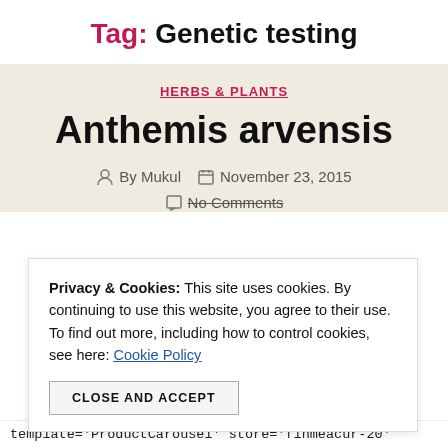Tag: Genetic testing
HERBS & PLANTS
Anthemis arvensis
By Mukul   November 23, 2015
No Comments
Privacy & Cookies: This site uses cookies. By continuing to use this website, you agree to their use. To find out more, including how to control cookies, see here: Cookie Policy
CLOSE AND ACCEPT
template='ProductCarousel' store='finmeacur-20'